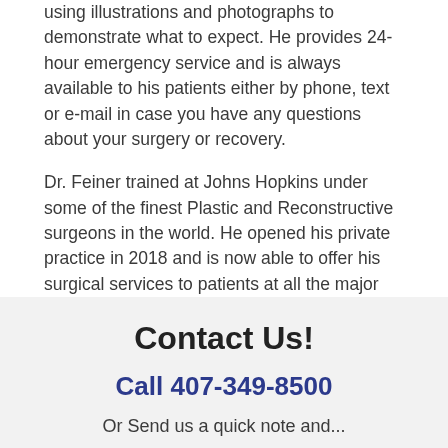using illustrations and photographs to demonstrate what to expect. He provides 24-hour emergency service and is always available to his patients either by phone, text or e-mail in case you have any questions about your surgery or recovery.
Dr. Feiner trained at Johns Hopkins under some of the finest Plastic and Reconstructive surgeons in the world. He opened his private practice in 2018 and is now able to offer his surgical services to patients at all the major hospital systems in Central Florida. Call today and experience the difference for yourself.
Contact Us!
Call 407-349-8500
Or Send us a quick note and...